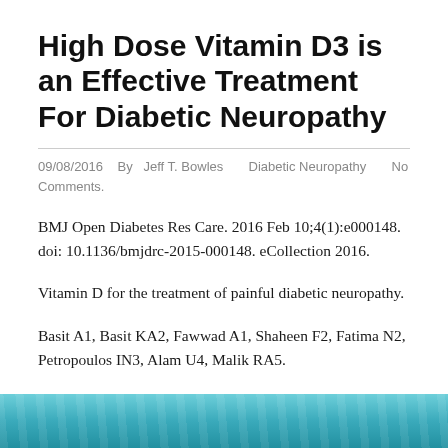High Dose Vitamin D3 is an Effective Treatment For Diabetic Neuropathy
09/08/2016   By  Jeff T. Bowles       Diabetic Neuropathy       No Comments.
BMJ Open Diabetes Res Care. 2016 Feb 10;4(1):e000148. doi: 10.1136/bmjdrc-2015-000148. eCollection 2016.
Vitamin D for the treatment of painful diabetic neuropathy.
Basit A1, Basit KA2, Fawwad A1, Shaheen F2, Fatima N2, Petropoulos IN3, Alam U4, Malik RA5.
[Figure (photo): Teal/cyan colored image strip at the bottom of the page, partially visible]